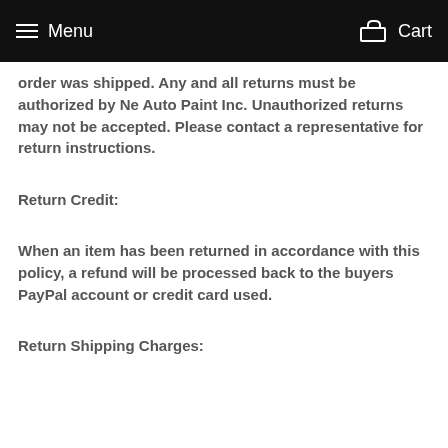Menu   Cart
order was shipped. Any and all returns must be authorized by Ne Auto Paint Inc. Unauthorized returns may not be accepted. Please contact a representative for return instructions.
Return Credit:
When an item has been returned in accordance with this policy, a refund will be processed back to the buyers PayPal account or credit card used.
Return Shipping Charges: